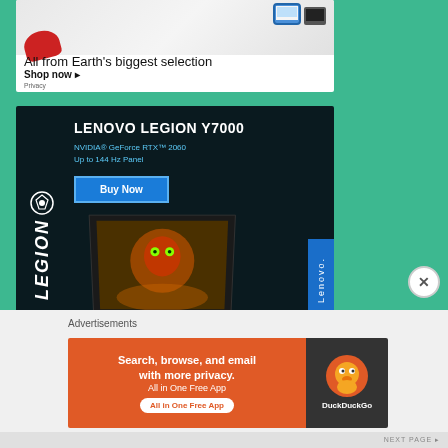[Figure (illustration): Amazon advertisement banner showing shoes and tablets with text 'All from Earth's biggest selection' and 'Shop now' link]
[Figure (illustration): Lenovo Legion Y7000 laptop advertisement on dark background. Shows LEGION logo vertically on left, product name, specs (NVIDIA GeForce RTX 2060, Up to 144 Hz Panel), Buy Now button, laptop image, Up your game tagline, Windows 10 branding, and Lenovo badge on right side.]
[Figure (illustration): DuckDuckGo advertisement: 'Search, browse, and email with more privacy. All in One Free App' on orange background, with DuckDuckGo logo on dark right panel]
Advertisements
Privacy